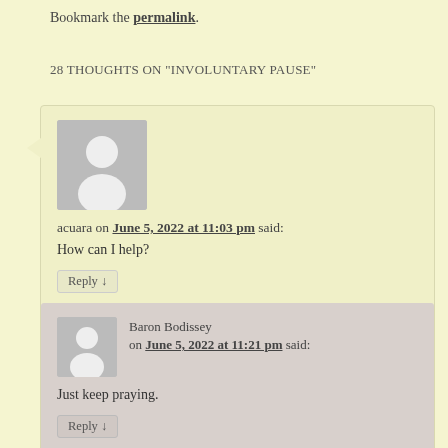Bookmark the permalink.
28 THOUGHTS ON “INVOLUNTARY PAUSE”
acuara on June 5, 2022 at 11:03 pm said:
How can I help?
Reply ↓
Baron Bodissey on June 5, 2022 at 11:21 pm said:
Just keep praying.
Reply ↓